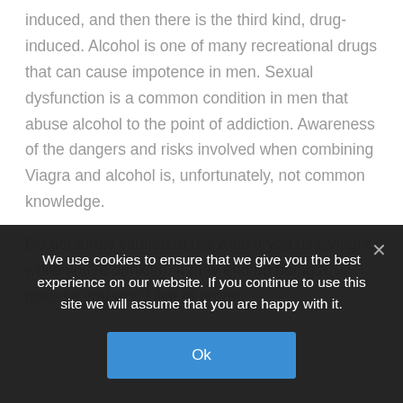induced, and then there is the third kind, drug-induced. Alcohol is one of many recreational drugs that can cause impotence in men. Sexual dysfunction is a common condition in men that abuse alcohol to the point of addiction. Awareness of the dangers and risks involved when combining Viagra and alcohol is, unfortunately, not common knowledge.
Do not throw caution to the wind if you use Viagra while you're drinking. It may end up being a mistake you won't live to regret.
We use cookies to ensure that we give you the best experience on our website. If you continue to use this site we will assume that you are happy with it. Ok